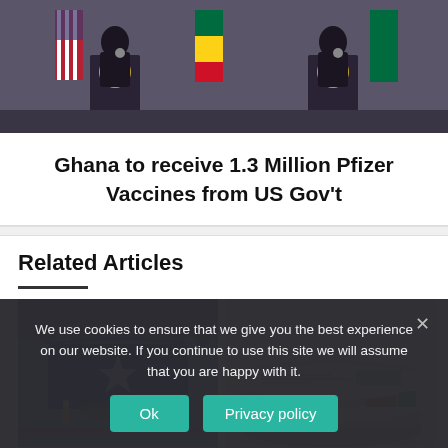[Figure (photo): Two officials at podiums with presidential seals, US and Ghana flags in background, formal press conference setting]
Ghana to receive 1.3 Million Pfizer Vaccines from US Gov't
Related Articles
[Figure (photo): Coffin draped in blue cloth with a star emblem, surrounded by flowers and candles at a state funeral]
[Figure (photo): Stack of rolled newspapers, close-up view]
We use cookies to ensure that we give you the best experience on our website. If you continue to use this site we will assume that you are happy with it.